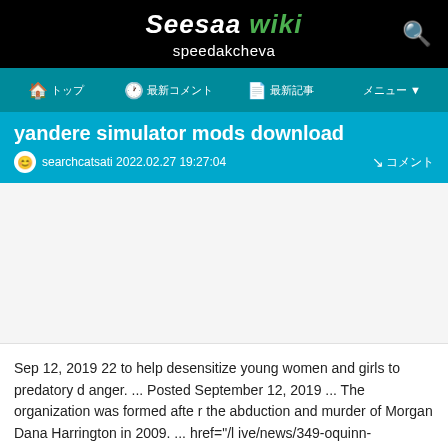Seesaa wiki speedakcheva
yandere simulator mods download
searchcatsati 2022.02.27 19:27:04
[Figure (other): Advertisement/blank space area]
Sep 12, 2019 22 to help desensitize young women and girls to predatory danger. ... Posted September 12, 2019 ... The organization was formed after the abduction and murder of Morgan Dana Harrington in 2009. ... href="/live/news/349-oquinn-challenges-college-to-conquer-new-frontiers">. p> 2020-06-12 2020-06-16 en-US King County Library System; ... alignleft tim